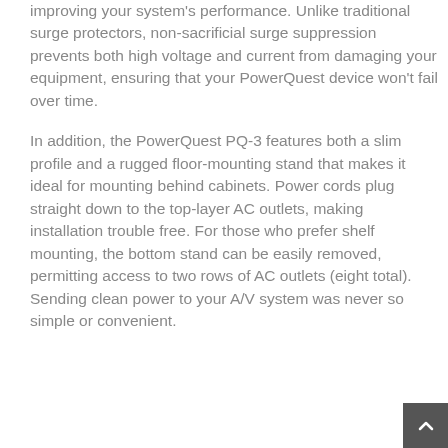improving your system's performance. Unlike traditional surge protectors, non-sacrificial surge suppression prevents both high voltage and current from damaging your equipment, ensuring that your PowerQuest device won't fail over time.
In addition, the PowerQuest PQ-3 features both a slim profile and a rugged floor-mounting stand that makes it ideal for mounting behind cabinets. Power cords plug straight down to the top-layer AC outlets, making installation trouble free. For those who prefer shelf mounting, the bottom stand can be easily removed, permitting access to two rows of AC outlets (eight total). Sending clean power to your A/V system was never so simple or convenient.